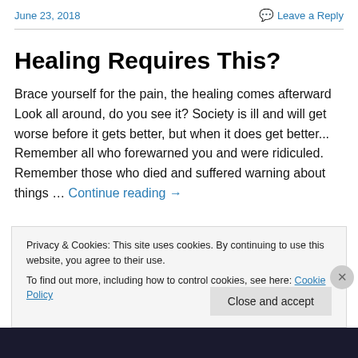June 23, 2018 | Leave a Reply
Healing Requires This?
Brace yourself for the pain, the healing comes afterward Look all around, do you see it? Society is ill and will get worse before it gets better, but when it does get better... Remember all who forewarned you and were ridiculed. Remember those who died and suffered warning about things … Continue reading →
Privacy & Cookies: This site uses cookies. By continuing to use this website, you agree to their use. To find out more, including how to control cookies, see here: Cookie Policy